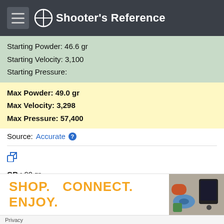Shooter's Reference
Starting Powder: 46.6 gr
Starting Velocity: 3,100
Starting Pressure:
Max Powder: 49.0 gr
Max Velocity: 3,298
Max Pressure: 57,400
Source: Accurate
GR.: 90 gr
Bullet Type: HPBT GK (Sierra) Diameter: 0.257"
Primer: FED 210
Powder: 4350 (Accurate)
[Figure (screenshot): SHOP. CONNECT. ENJOY. advertisement banner with product images]
Privacy